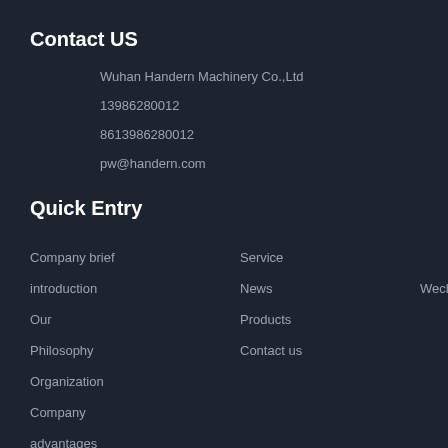Contact US
Wuhan Handern Machinery Co.,Ltd
13986280012
8613986280012
pw@handern.com
Quick Entry
Company brief
Service
introduction
News
Wechat scan
Our
Products
Philosophy
Contact us
Organization
Company
advantages